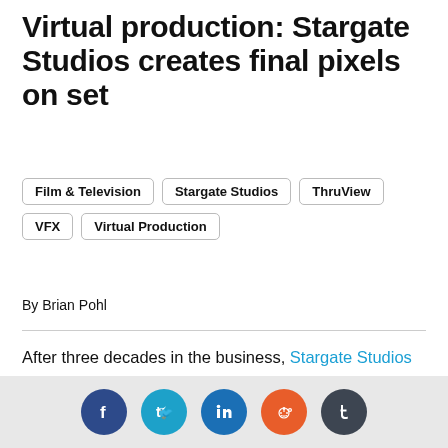Virtual production: Stargate Studios creates final pixels on set
Film & Television
Stargate Studios
ThruView
VFX
Virtual Production
By Brian Pohl
After three decades in the business, Stargate Studios (The Walking Dead, CSI: Crime Scene Investigation, Ray Donovan, The Orville) knows a thing or two about high-tech film and television production. Offering both visual effects and digital production services, the company now has nine studios in seven countries, and